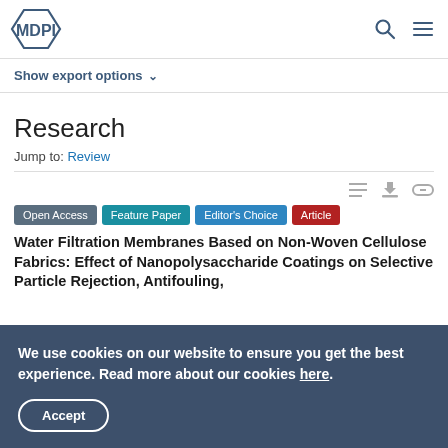MDPI
Show export options
Research
Jump to: Review
Open Access  Feature Paper  Editor's Choice  Article
Water Filtration Membranes Based on Non-Woven Cellulose Fabrics: Effect of Nanopolysaccharide Coatings on Selective Particle Rejection, Antifouling,
We use cookies on our website to ensure you get the best experience. Read more about our cookies here.
Accept